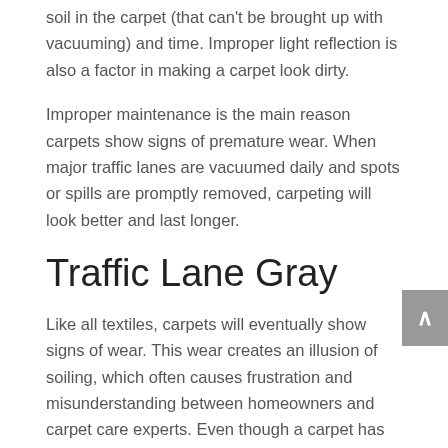soil in the carpet (that can't be brought up with vacuuming) and time. Improper light reflection is also a factor in making a carpet look dirty.
Improper maintenance is the main reason carpets show signs of premature wear. When major traffic lanes are vacuumed daily and spots or spills are promptly removed, carpeting will look better and last longer.
Traffic Lane Gray
Like all textiles, carpets will eventually show signs of wear. This wear creates an illusion of soiling, which often causes frustration and misunderstanding between homeowners and carpet care experts. Even though a carpet has been cleaned, it does not mean the traffic areas will look clean. Traffic areas are those places